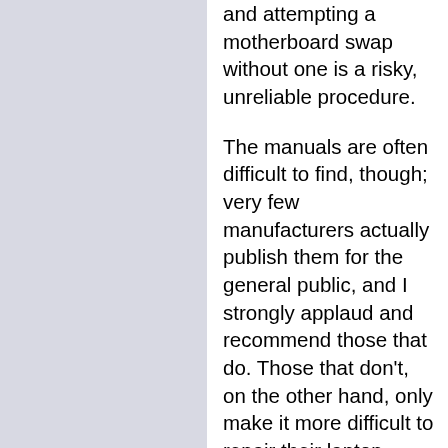and attempting a motherboard swap without one is a risky, unreliable procedure.
The manuals are often difficult to find, though; very few manufacturers actually publish them for the general public, and I strongly applaud and recommend those that do. Those that don't, on the other hand, only make it more difficult to repair their laptop computers, which reflects badly on them as companies who care more about their sales than their support.
I invite everybody to have a look, email people the link,